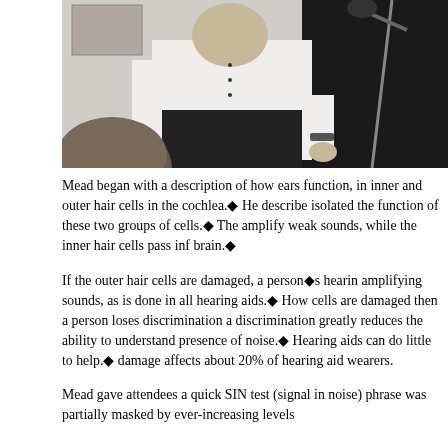[Figure (photo): A man in a white shirt standing near audio equipment, with another person's head visible in the foreground.]
Mead began with a description of how ears function, in inner and outer hair cells in the cochlea.◆ He described isolated the function of these two groups of cells.◆ The amplify weak sounds, while the inner hair cells pass inf brain.◆
If the outer hair cells are damaged, a person◆s hearin amplifying sounds, as is done in all hearing aids.◆ How cells are damaged then a person loses discrimination a discrimination greatly reduces the ability to understand presence of noise.◆ Hearing aids can do little to help.◆ damage affects about 20% of hearing aid wearers.
Mead gave attendees a quick SIN test (signal in noise) phrase was partially masked by ever-increasing levels